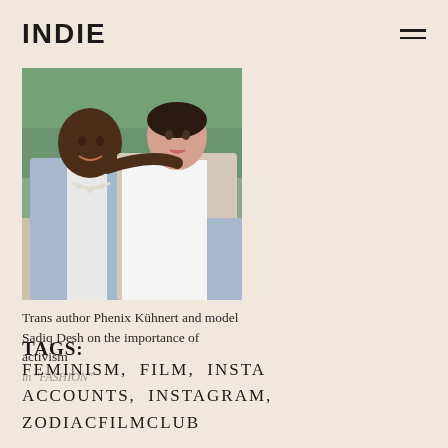INDIE
[Figure (photo): A Black man and a white woman posing together outdoors. The man wears a denim jacket over a white t-shirt and a pearl necklace. The woman wears a white button-up shirt.]
Trans author Phenix Kühnert and model Sadiq Desh on the importance of activism
in "FASHION"
TAGS:
FEMINISM,  FILM,  INSTA ACCOUNTS,  INSTAGRAM,  ZODIACFILMCLUB